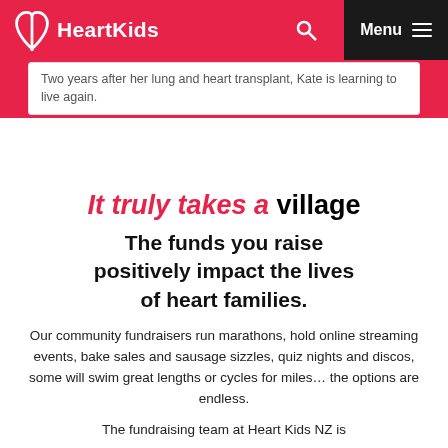HeartKids
Two years after her lung and heart transplant, Kate is learning to live again.
It truly takes a village
The funds you raise positively impact the lives of heart families.
Our community fundraisers run marathons, hold online streaming events, bake sales and sausage sizzles, quiz nights and discos, some will swim great lengths or cycles for miles... the options are endless.
The fundraising team at Heart Kids NZ is